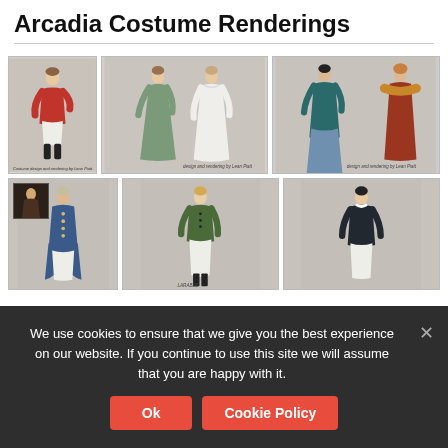Arcadia Costume Renderings
[Figure (photo): Grid of costume design renderings showing Regency-era figures in various costumes for the play Arcadia. Top row: figure in red jacket and white breeches; two female figures in green and white Regency gowns; two female figures in dark teal and rust/red gowns. Bottom row: figure in blue tailcoat with small thumbnail overlay; female figure in green riding jacket with white breeches; male figure in black coat with white breeches.]
We use cookies to ensure that we give you the best experience on our website. If you continue to use this site we will assume that you are happy with it.